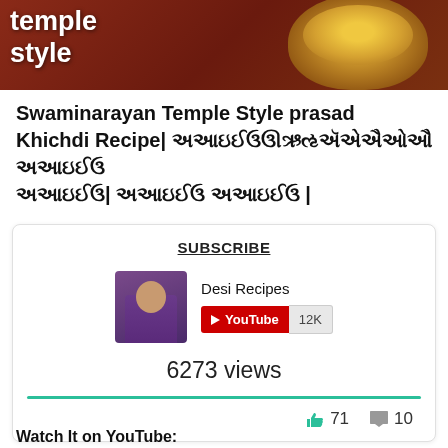[Figure (photo): Banner image showing a bowl of khichdi on a dark red/brown background with the text 'temple style' in white bold font]
Swaminarayan Temple Style prasad Khichdi Recipe| સ્વામિનારાયણ મંદિર ખીચડી| પ્રસાદ ખીચડી |
SUBSCRIBE
Desi Recipes
YouTube 12K
6273 views
👍 71   💬 10
Watch It on YouTube: